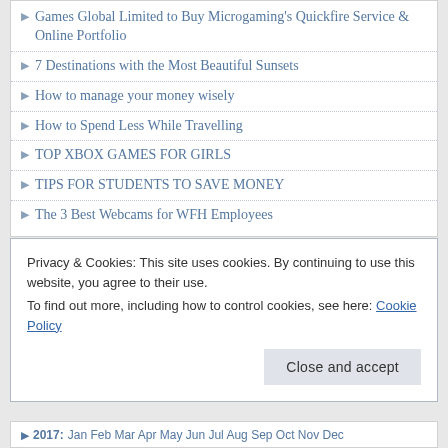Games Global Limited to Buy Microgaming's Quickfire Service & Online Portfolio
7 Destinations with the Most Beautiful Sunsets
How to manage your money wisely
How to Spend Less While Travelling
TOP XBOX GAMES FOR GIRLS
TIPS FOR STUDENTS TO SAVE MONEY
The 3 Best Webcams for WFH Employees
ARCHIVES BY MONTH
2022: Jan Feb Mar Apr May Jun Jul Aug Sep Oct Nov Dec
Privacy & Cookies: This site uses cookies. By continuing to use this website, you agree to their use.
To find out more, including how to control cookies, see here: Cookie Policy
Close and accept
2017: Jan Feb Mar Apr May Jun Jul Aug Sep Oct Nov Dec